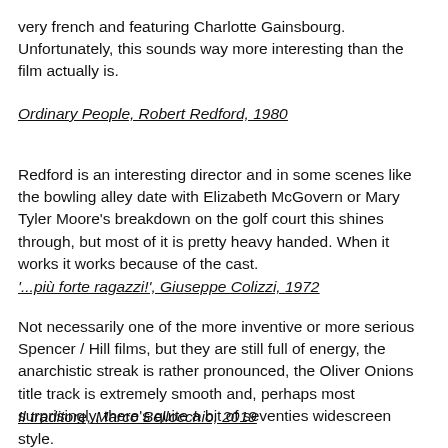very french and featuring Charlotte Gainsbourg. Unfortunately, this sounds way more interesting than the film actually is.
Ordinary People, Robert Redford, 1980
Redford is an interesting director and in some scenes like the bowling alley date with Elizabeth McGovern or Mary Tyler Moore's breakdown on the golf court this shines through, but most of it is pretty heavy handed. When it works it works because of the cast.
'...più forte ragazzi!', Giuseppe Colizzi, 1972
Not necessarily one of the more inventive or more serious Spencer / Hill films, but they are still full of energy, the anarchistic streak is rather pronounced, the Oliver Onions title track is extremely smooth and, perhaps most surprisingly, there's quite a bit of seventies widescreen style.
Il traditore, Marco Bellocchio, 2019
Hard not to place IL TRADITORE next to THE IRISHMAN (if